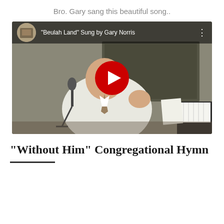Bro. Gary sang this beautiful song..
[Figure (screenshot): YouTube video thumbnail showing a man in a white shirt and tie singing into a microphone on a stage, with a YouTube play button overlay. Video title: "Beulah Land" Sung by Gary Norris]
"Without Him" Congregational Hymn